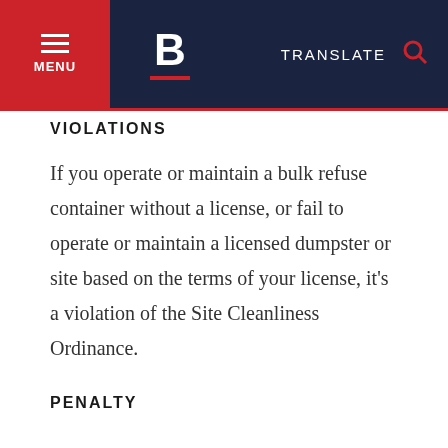MENU | B | TRANSLATE
VIOLATIONS
If you operate or maintain a bulk refuse container without a license, or fail to operate or maintain a licensed dumpster or site based on the terms of your license, it's a violation of the Site Cleanliness Ordinance.
PENALTY